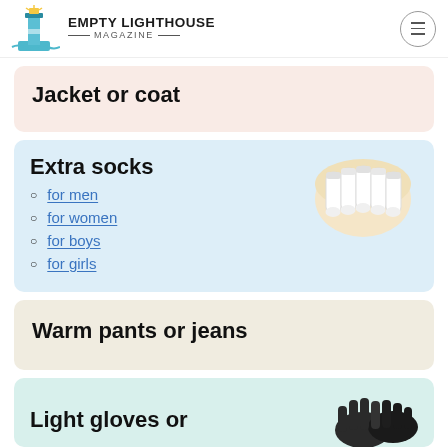EMPTY LIGHTHOUSE MAGAZINE
Jacket or coat
Extra socks
for men
for women
for boys
for girls
[Figure (photo): Multiple white ankle socks bundled together viewed from above]
Warm pants or jeans
Light gloves or
[Figure (photo): Dark colored gloves]